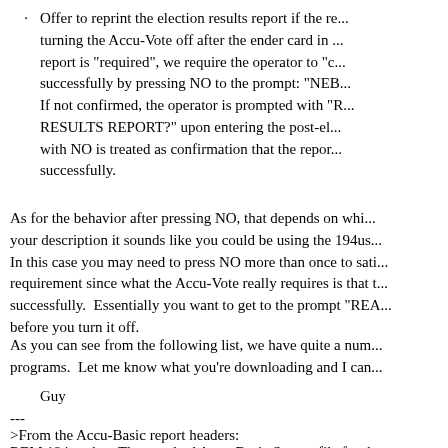Offer to reprint the election results report if the re... turning the Accu-Vote off after the ender card in ... report is "required", we require the operator to "c... successfully by pressing NO to the prompt: "NEB... If not confirmed, the operator is prompted with "R... RESULTS REPORT?" upon entering the post-el... with NO is treated as confirmation that the repor... successfully.
As for the behavior after pressing NO, that depends on whi... your description it sounds like you could be using the 194us... In this case you may need to press NO more than once to sat... requirement since what the Accu-Vote really requires is that t... successfully.  Essentially you want to get to the prompt "REA... before you turn it off.
As you can see from the following list, we have quite a num... programs.  Let me know what you're downloading and I can
Guy
---
>From the Accu-Basic report headers:
REM 194us.abs - The standard Accu-Basic Source file for th...